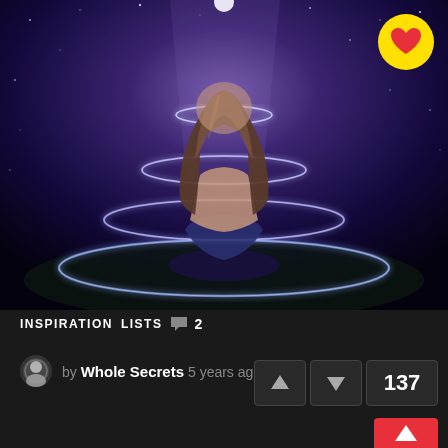[Figure (illustration): Digital illustration of a woman with long hair sitting cross-legged from behind, surrounded by glowing concentric rings/energy circles, against a dark purple starry cosmic background with bright white light above her head.]
INSPIRATION  LISTS  💬 2
by Whole Secrets 5 years ago
↑  ↓  137